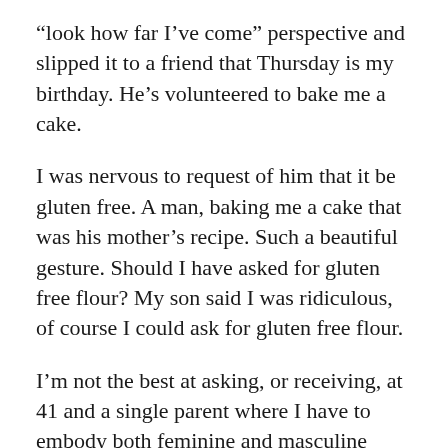“look how far I’ve come” perspective and slipped it to a friend that Thursday is my birthday. He’s volunteered to bake me a cake.
I was nervous to request of him that it be gluten free. A man, baking me a cake that was his mother’s recipe. Such a beautiful gesture. Should I have asked for gluten free flour? My son said I was ridiculous, of course I could ask for gluten free flour.
I’m not the best at asking, or receiving, at 41 and a single parent where I have to embody both feminine and masculine throughout the day. I’ve been pretty adept in my life at working my ass off, but I’ve been pretty clear for a while